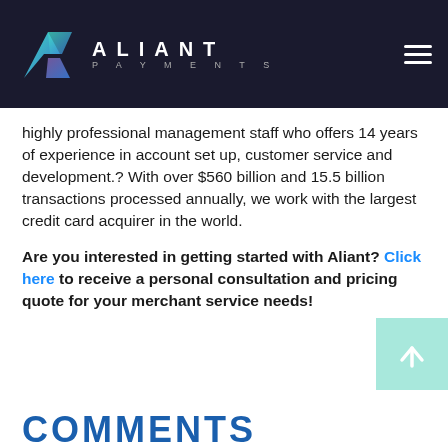[Figure (logo): Aliant Payments logo with geometric diamond/arrow icon in teal/blue gradient and white 'ALIANT PAYMENTS' text on dark navy background header]
highly professional management staff who offers 14 years of experience in account set up, customer service and development.? With over $560 billion and 15.5 billion transactions processed annually, we work with the largest credit card acquirer in the world.
Are you interested in getting started with Aliant? Click here to receive a personal consultation and pricing quote for your merchant service needs!
COMMENTS